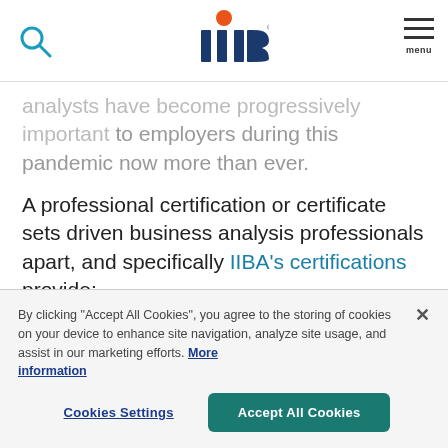IIBA (logo), search icon, menu
analysts have become progressively important to employers during this pandemic now more than ever.
A professional certification or certificate sets driven business analysis professionals apart, and specifically IIBA's certifications provide:
Global recognition
Competitive advantage
Improved earning potential
By clicking “Accept All Cookies”, you agree to the storing of cookies on your device to enhance site navigation, analyze site usage, and assist in our marketing efforts. More information
Cookies Settings | Accept All Cookies